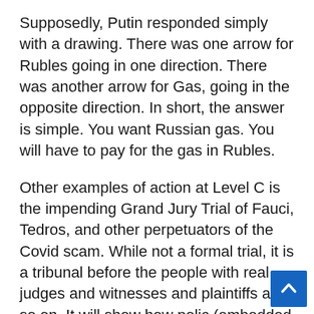Supposedly, Putin responded simply with a drawing. There was one arrow for Rubles going in one direction. There was another arrow for Gas, going in the opposite direction. In short, the answer is simple. You want Russian gas. You will have to pay for the gas in Rubles.
Other examples of action at Level C is the impending Grand Jury Trial of Fauci, Tedros, and other perpetuators of the Covid scam. While not a formal trial, it is a tribunal before the people with real judges and witnesses and plaintiffs and so on. It will show how polic (embedded in law) are being broken.